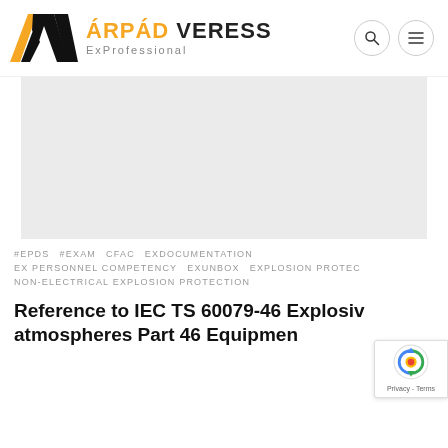ÁRPÁD VERESS ExProfessional
[Figure (photo): Light grey rectangular placeholder image area for a blog post article image]
#EPDS  #EXAM  CFAC  EXDOCUMENTATION  EX PERSONNEL COMPETENCY  EXUNBOX  EXPLOSION PROTECTION  NON-ELECTRICAL EXPLOSION PROTECTION
Reference to IEC TS 60079-46 Explosive atmospheres Part 46 Equipment...